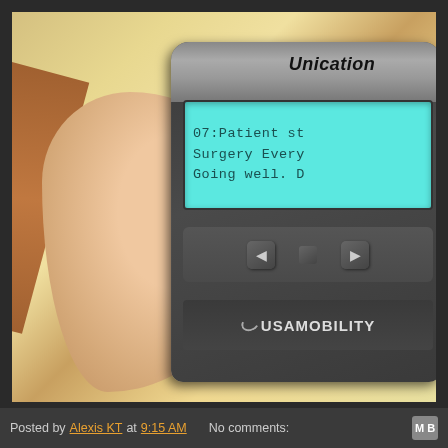[Figure (photo): A hand holding a Unication pager (USA Mobility brand) displaying a medical message on its cyan LCD screen reading '07:Patient st... Surgery Every... Going well. D...' The pager has navigation buttons and the USA MOBILITY logo on the bottom.]
Posted by Alexis KT at 9:15 AM   No comments: